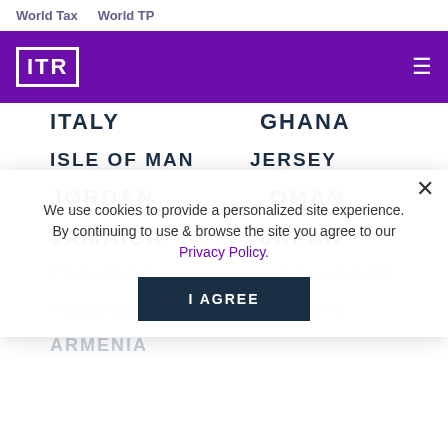World Tax   World TP
[Figure (logo): ITR logo in white on purple header bar with hamburger menu]
ITALY   GHANA
ISLE OF MAN   JERSEY
JORDAN   OMAN
JAMAICA   JAPAN
PAKISTAN   KAZAKHSTAN (faded)
PANAMA   SLOVENIA (faded)
ARMENIA (faded)
We use cookies to provide a personalized site experience. By continuing to use & browse the site you agree to our Privacy Policy.
I AGREE